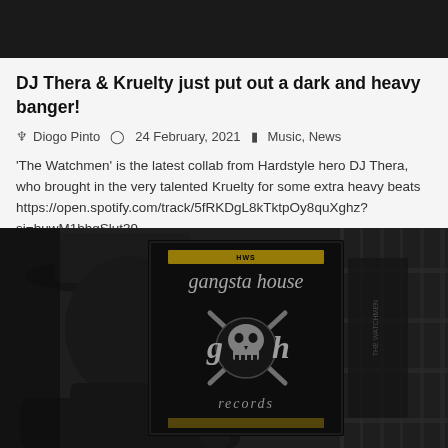DJ Thera & Kruelty just put out a dark and heavy banger!
Diogo Pinto   24 February, 2021   Music, News
'The Watchmen' is the latest collab from Hardstyle hero DJ Thera, who brought in the very talented Kruelty for some extra heavy beats https://open.spotify.com/track/5fRKDgL8kTktpOy8quXghz?si=buwM1bhgSlut39...
[Figure (photo): Black and white photo of a person in a hat, with a Gangsta House Records vinyl record/logo card in the foreground showing a skull logo and the text 'gangsta house' and 'g h records']